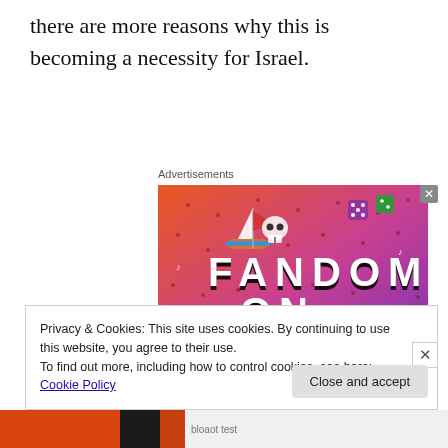there are more reasons why this is becoming a necessity for Israel.
Advertisements
[Figure (illustration): Colorful advertisement banner for 'Fandom on Tumblr' with orange-to-purple gradient background, white doodle icons (skull, sailboat, music notes, dice, arrows), and bold black and white lettering reading FANDOM ON tumblr.]
Privacy & Cookies: This site uses cookies. By continuing to use this website, you agree to their use.
To find out more, including how to control cookies, see here: Cookie Policy